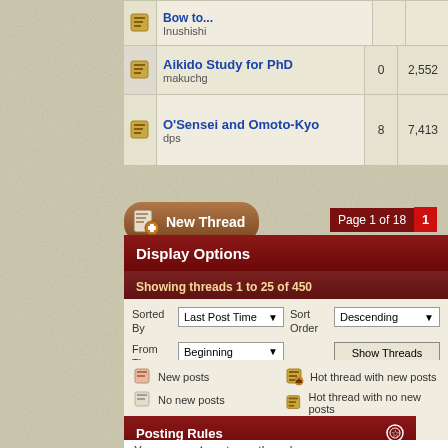|  | Thread | Replies | Views |
| --- | --- | --- | --- |
| [icon] | How to...
Inushishi |  |  |
| [icon] | Aikido Study for PhD
makuchg | 0 | 2,552 |
| [icon] | O'Sensei and Omoto-Kyo
dps | 8 | 7,413 |
Page 1 of 18  1
Display Options
Showing threads 1 to 25 of 450
Sorted By: Last Post Time | Sort Order: Descending | From The: Beginning | Show Threads
New posts
Hot thread with new posts
No new posts
Hot thread with no new posts
Thread is closed
Posting Rules
You may not post new threads
You may not post replies